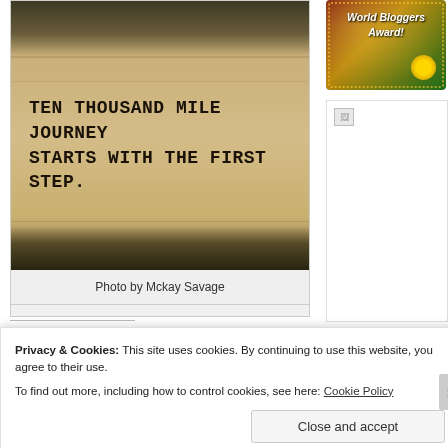[Figure (photo): Photo of a wall with text painted on it: 'TEN THOUSAND MILE JOURNEY STARTS WITH THE FIRST STEP.' The wall has a yellowish-beige color, with a dark top section and darker bottom. The photo has a simple outdoor setting.]
Photo by Mckay Savage
[Figure (photo): World Bloggers Award badge image with colorful floral border]
[Figure (photo): Broken/missing image placeholder (white box with small broken image icon)]
SHARE THIS:
Twitter
Facebook
Tumblr
Email
Print
Privacy & Cookies: This site uses cookies. By continuing to use this website, you agree to their use. To find out more, including how to control cookies, see here: Cookie Policy
Close and accept